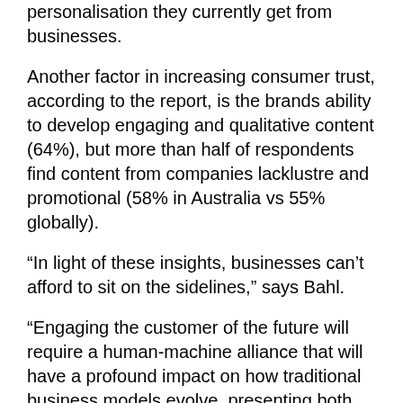personalisation they currently get from businesses.
Another factor in increasing consumer trust, according to the report, is the brands ability to develop engaging and qualitative content (64%), but more than half of respondents find content from companies lacklustre and promotional (58% in Australia vs 55% globally).
“In light of these insights, businesses can’t afford to sit on the sidelines,” says Bahl.
“Engaging the customer of the future will require a human-machine alliance that will have a profound impact on how traditional business models evolve, presenting both opportunities and risks to companies. Not all businesses can become Amazon or Google, but they can be on Amazon, with a Google ranking,” he says.
The new report, ‘Algorithms over brands: How to